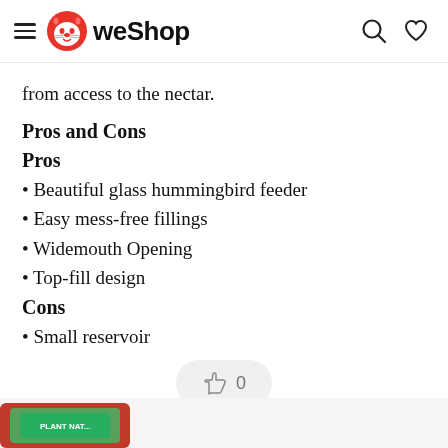WeShop
from access to the nectar.
Pros and Cons
Pros
Beautiful glass hummingbird feeder
Easy mess-free fillings
Widemouth Opening
Top-fill design
Cons
Small reservoir
[Figure (other): Thumbs up button with count 0]
[Figure (photo): Product image partially visible at bottom of page]